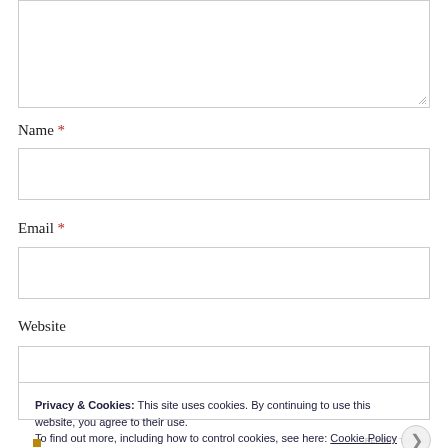[Figure (screenshot): A textarea input box at the top of the page, with a resize handle in the bottom-right corner]
Name *
[Figure (screenshot): A text input field for Name]
Email *
[Figure (screenshot): A text input field for Email]
Website
[Figure (screenshot): A text input field for Website]
Privacy & Cookies: This site uses cookies. By continuing to use this website, you agree to their use.
To find out more, including how to control cookies, see here: Cookie Policy
Close and accept